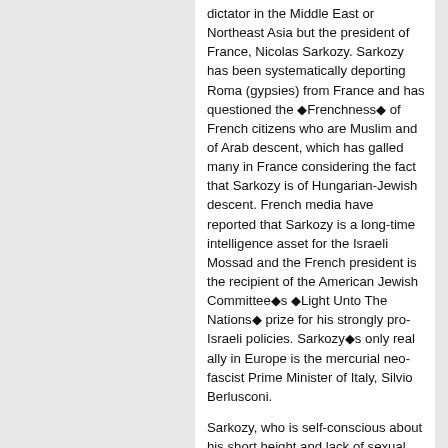dictator in the Middle East or Northeast Asia but the president of France, Nicolas Sarkozy. Sarkozy has been systematically deporting Roma (gypsies) from France and has questioned the ◆Frenchness◆ of French citizens who are Muslim and of Arab descent, which has galled many in France considering the fact that Sarkozy is of Hungarian-Jewish descent. French media have reported that Sarkozy is a long-time intelligence asset for the Israeli Mossad and the French president is the recipient of the American Jewish Committee◆s ◆Light Unto The Nations◆ prize for his strongly pro-Israeli policies. Sarkozy◆s only real ally in Europe is the mercurial neo-fascist Prime Minister of Italy, Silvio Berlusconi.
Sarkozy, who is self-conscious about his short height and lack of sexual prowess, fits the profile of someone who uses his presidency, jumbo jet presidential airplane, and nuclear weapons to make up for his shortcomings in Napoleonic fashion.